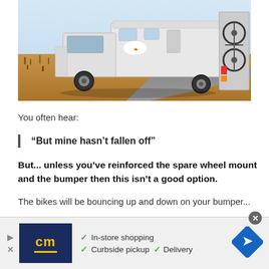[Figure (photo): Rear view of a white pickup truck towing a white camper trailer with a bicycle mounted on the back, parked on a dusty outback road with dry grassland in the background.]
You often hear:
“But mine hasn’t fallen off”
But... unless you’ve reinforced the spare wheel mount and the bumper then this isn’t a good option.
The bikes will be bouncing up and down on your bumper...
[Figure (other): Advertisement banner for CM (Canadian Mirror or similar) store showing logo, checkmarks for In-store shopping, Curbside pickup, and Delivery, plus a navigation/directions icon.]